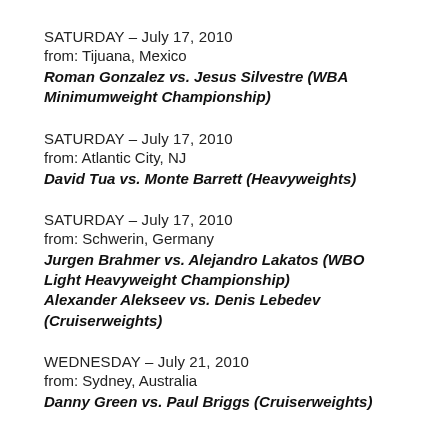SATURDAY – July 17, 2010
from: Tijuana, Mexico
Roman Gonzalez vs. Jesus Silvestre (WBA Minimumweight Championship)
SATURDAY – July 17, 2010
from: Atlantic City, NJ
David Tua vs. Monte Barrett (Heavyweights)
SATURDAY – July 17, 2010
from: Schwerin, Germany
Jurgen Brahmer vs. Alejandro Lakatos (WBO Light Heavyweight Championship)
Alexander Alekseev vs. Denis Lebedev (Cruiserweights)
WEDNESDAY – July 21, 2010
from: Sydney, Australia
Danny Green vs. Paul Briggs (Cruiserweights)